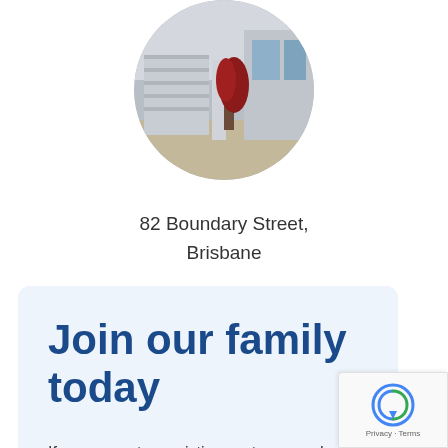[Figure (photo): Circular cropped photo of a residential property showing garage doors and a red plant/shrub in front, at 82 Boundary Street, Brisbane]
82 Boundary Street,
Brisbane
Join our family today
If you are not an existing customer and are interested in getting a body corporate